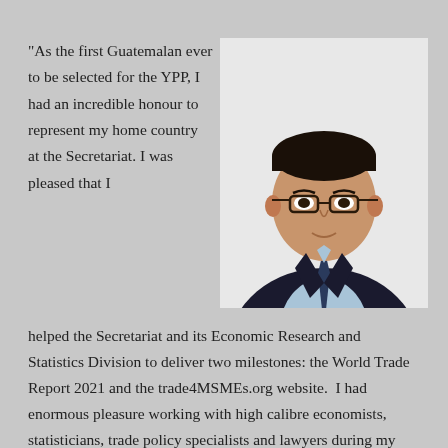"As the first Guatemalan ever to be selected for the YPP, I had an incredible honour to represent my home country at the Secretariat. I was pleased that I helped the Secretariat and its Economic Research and Statistics Division to deliver two milestones: the World Trade Report 2021 and the trade4MSMEs.org website.  I had enormous pleasure working with high calibre economists, statisticians, trade policy specialists and lawyers during my tenure at the Secretariat" – Sergio Martinez Cotto (Guatemala)
[Figure (photo): Professional headshot of Sergio Martinez Cotto, a man wearing glasses and a dark suit with a light blue shirt and dark tie, photographed against a white background.]